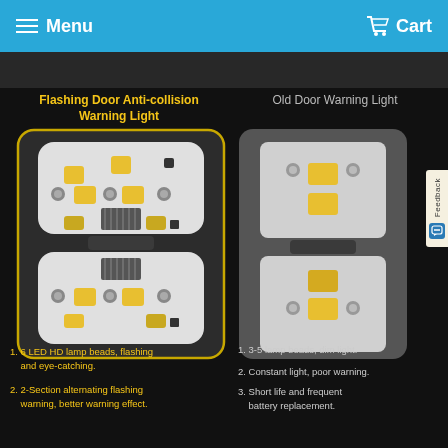Menu  Cart
[Figure (photo): Comparison image showing Flashing Door Anti-collision Warning Light (left, with yellow border, 6 LED HD lamp beads, two modules with microchip) vs Old Door Warning Light (right, gray background, simple modules with 3-5 lamp beads)]
Flashing Door Anti-collision Warning Light
Old Door Warning Light
1. 6 LED HD lamp beads, flashing and eye-catching.
2. 2-Section alternating flashing warning, better warning effect.
1. 3-5 lamp beads, dim light.
2. Constant light, poor warning.
3. Short life and frequent battery replacement.